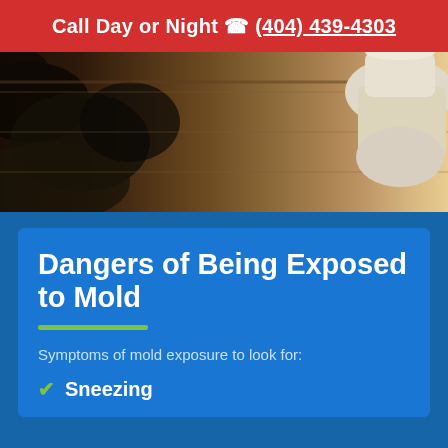Call Day or Night ☎ (404) 439-4303
[Figure (photo): Photo showing black mold growth on a wall/floor near a white toilet on a wood-look floor]
Dangers of Being Exposed to Mold
Symptoms of mold exposure to look for:
Sneezing